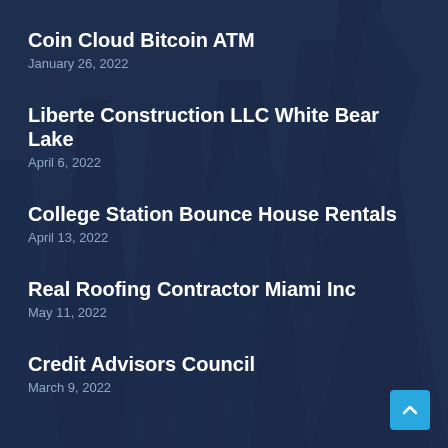Coin Cloud Bitcoin ATM
January 26, 2022
Liberte Construction LLC White Bear Lake
April 6, 2022
College Station Bounce House Rentals
April 13, 2022
Real Roofing Contractor Miami Inc
May 11, 2022
Credit Advisors Council
March 9, 2022